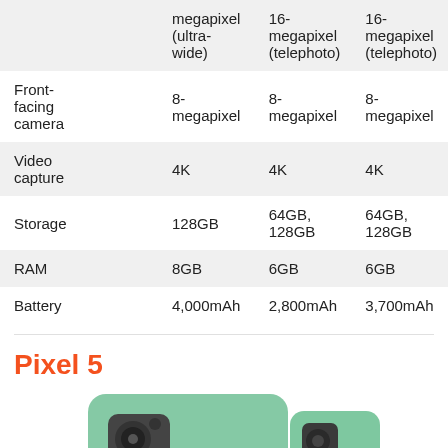|  | megapixel (ultra-wide) | 16-megapixel (telephoto) | 16-megapixel (telephoto) |
| Front-facing camera | 8-megapixel | 8-megapixel | 8-megapixel |
| Video capture | 4K | 4K | 4K |
| Storage | 128GB | 64GB, 128GB | 64GB, 128GB |
| RAM | 8GB | 6GB | 6GB |
| Battery | 4,000mAh | 2,800mAh | 3,700mAh |
Pixel 5
[Figure (photo): Pixel 5 phone in green color shown from back and side angles]